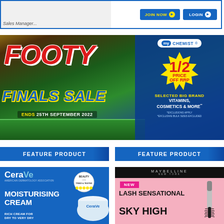[Figure (infographic): Top membership banner with JOIN NOW and LOGIN buttons in blue]
[Figure (infographic): My Chemist Footy Finals Sale banner - ENDS 25TH SEPTEMBER 2022 - 1/2 PRICE OFF RRP on selected big brand vitamins, cosmetics and more]
FEATURE PRODUCT
FEATURE PRODUCT
[Figure (photo): CeraVe Moisturising Cream - Rich Cream for Dry to Very Dry skin product advertisement with Beauty Crew Tried and Tested badge]
[Figure (photo): Maybelline New York New Lash Sensational Sky High mascara product advertisement]